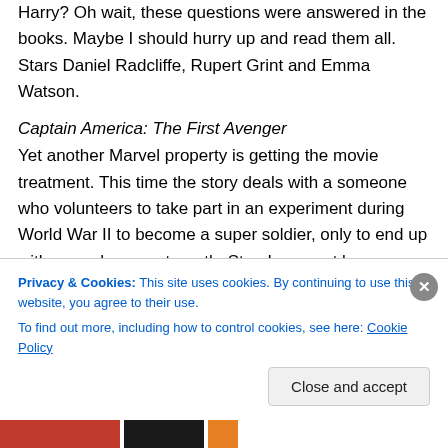Harry? Oh wait, these questions were answered in the books. Maybe I should hurry up and read them all. Stars Daniel Radcliffe, Rupert Grint and Emma Watson.
Captain America: The First Avenger
Yet another Marvel property is getting the movie treatment. This time the story deals with a someone who volunteers to take part in an experiment during World War II to become a super soldier, only to end up with super human strength. Stan Lee must be very happy to see his creations on the big screen. I hope he is getting some money out of this, as well. Stars Chris Evans and Samuel
Privacy & Cookies: This site uses cookies. By continuing to use this website, you agree to their use.
To find out more, including how to control cookies, see here: Cookie Policy
Close and accept